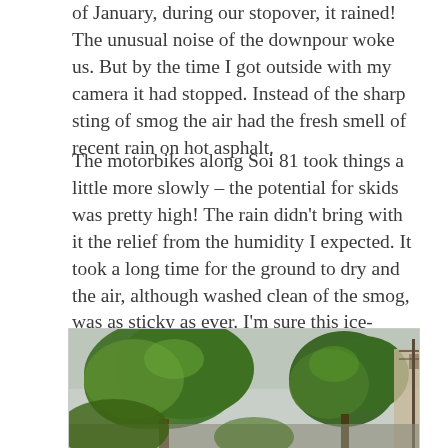of January, during our stopover, it rained! The unusual noise of the downpour woke us. But by the time I got outside with my camera it had stopped. Instead of the sharp sting of smog the air had the fresh smell of recent rain on hot asphalt.
The motorbikes along Soi 81 took things a little more slowly – the potential for skids was pretty high! The rain didn't bring with it the relief from the humidity I expected. It took a long time for the ground to dry and the air, although washed clean of the smog, was as sticky as ever. I'm sure this ice-cream vendor would have had no trouble selling her goods once she got to the main road.
[Figure (photo): Outdoor street scene showing large green trees with lush canopies against an overcast grey sky, with utility poles and buildings visible on the right side. The scene appears to be taken after rain in a tropical setting.]